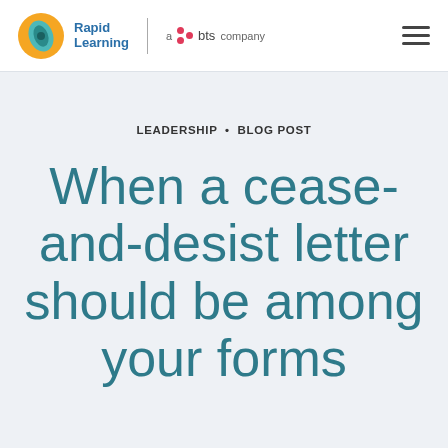Rapid Learning | a bts company
LEADERSHIP · BLOG POST
When a cease-and-desist letter should be among your forms